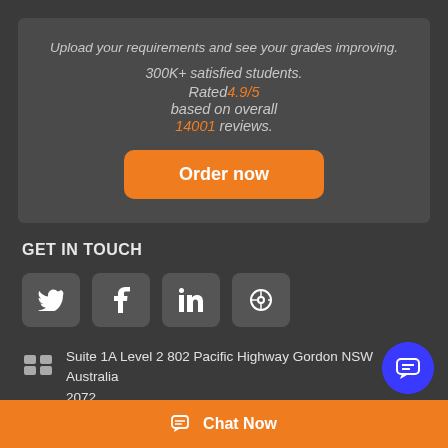Upload your requirements and see your grades improving.
300K+ satisfied students.
Rated 4.9/5 based on overall 14001 reviews.
[Figure (other): Orange 'Order now' button]
GET IN TOUCH
[Figure (other): Social media icons: Twitter, Facebook, LinkedIn, Pinterest]
Suite 1A Level 2 802 Pacific Highway Gordon NSW Australia 2072
[Figure (other): Blue circular chat bubble button]
Chat Now